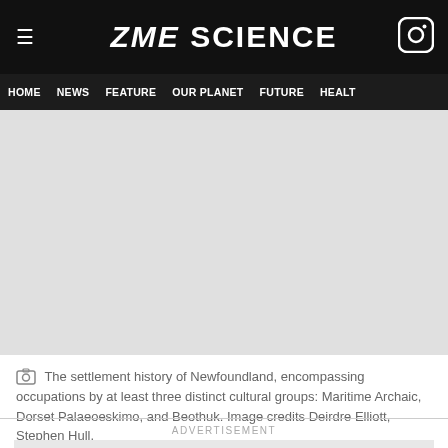ZME SCIENCE
HOME  NEWS  FEATURE  OUR PLANET  FUTURE  HEALTH
[Figure (photo): Image area placeholder — settlement history of Newfoundland photo, showing occupations by Maritime Archaic, Dorset Palaeoeskimo, and Beothuk cultural groups. Credits: Deirdre Elliott, Stephen Hull.]
The settlement history of Newfoundland, encompassing occupations by at least three distinct cultural groups: Maritime Archaic, Dorset Palaeoeskimo, and Beothuk. Image credits Deirdre Elliott, Stephen Hull.
ADVERTISEMENT